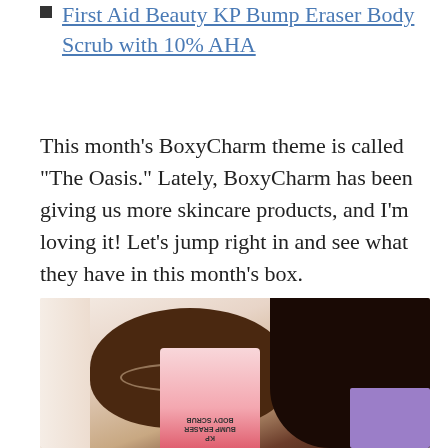First Aid Beauty KP Bump Eraser Body Scrub with 10% AHA
This month's BoxyCharm theme is called "The Oasis." Lately, BoxyCharm has been giving us more skincare products, and I'm loving it! Let's jump right in and see what they have in this month's box.
[Figure (photo): A person with glasses and locs/dreadlocks holding a pink First Aid Beauty KP Bump Eraser Body Scrub product tube, which is shown upside down. The background shows a light-colored room with a purple element.]